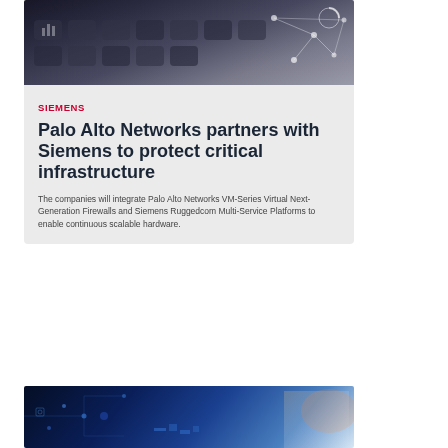[Figure (photo): Abstract technology background with keyboard keys overlaid with glowing network connection lines and data visualization icons, in gray and blue tones.]
SIEMENS
Palo Alto Networks partners with Siemens to protect critical infrastructure
The companies will integrate Palo Alto Networks VM-Series Virtual Next-Generation Firewalls and Siemens Ruggedcom Multi-Service Platforms to enable continuous scalable hardware.
[Figure (photo): Technology and industrial safety themed image showing a person in a hard hat against a background of digital circuit board patterns with blue glowing lights and tech overlay graphics.]